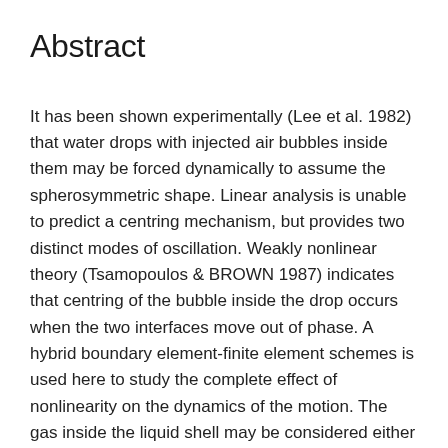Abstract
It has been shown experimentally (Lee et al. 1982) that water drops with injected air bubbles inside them may be forced dynamically to assume the spherosymmetric shape. Linear analysis is unable to predict a centring mechanism, but provides two distinct modes of oscillation. Weakly nonlinear theory (Tsamopoulos & BROWN 1987) indicates that centring of the bubble inside the drop occurs when the two interfaces move out of phase. A hybrid boundary element-finite element schemes is used here to study the complete effect of nonlinearity on the dynamics of the motion. The gas inside the liquid shell may be considered either incompressible or compressible by using a polytropic relation. In both cases, the present calculations show